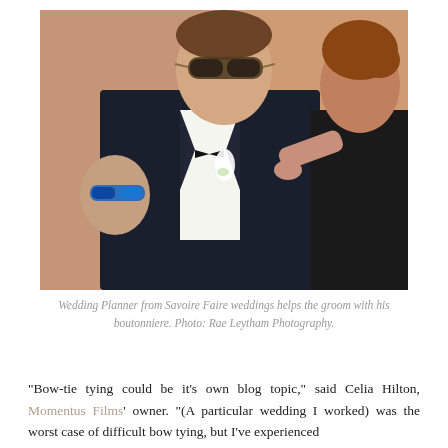[Figure (photo): A groom in a black tuxedo with bow tie and aviator sunglasses stands while a woman with red hair pins a white calla lily boutonniere to his lapel. Another person wearing blue mirrored sunglasses is visible in the background.]
Wedding Planner from Savoire Faire weddings helps the groom with his boutonniere. Photo: Rae Leytham Photography.
“Bow-tie tying could be it’s own blog topic,” said Celia Hilton, Momentus Films’ owner. “(A particular wedding I worked) was the worst case of difficult bow tying, but I’ve experienced